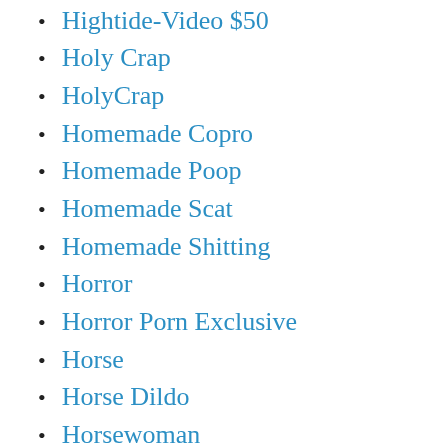Hightide-Video $50
Holy Crap
HolyCrap
Homemade Copro
Homemade Poop
Homemade Scat
Homemade Shitting
Horror
Horror Porn Exclusive
Horse
Horse Dildo
Horsewoman
Hospital / Clinic
hot
hot blonde
HotDirtyIvone
HotScatWife